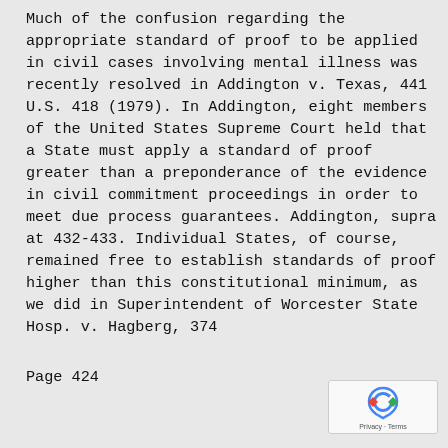Much of the confusion regarding the appropriate standard of proof to be applied in civil cases involving mental illness was recently resolved in Addington v. Texas, 441 U.S. 418 (1979). In Addington, eight members of the United States Supreme Court held that a State must apply a standard of proof greater than a preponderance of the evidence in civil commitment proceedings in order to meet due process guarantees. Addington, supra at 432-433. Individual States, of course, remained free to establish standards of proof higher than this constitutional minimum, as we did in Superintendent of Worcester State Hosp. v. Hagberg, 374
Page 424